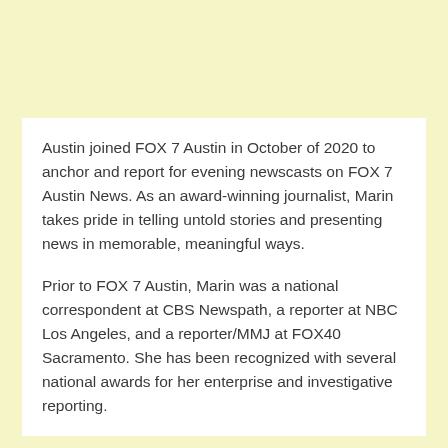Austin joined FOX 7 Austin in October of 2020 to anchor and report for evening newscasts on FOX 7 Austin News. As an award-winning journalist, Marin takes pride in telling untold stories and presenting news in memorable, meaningful ways.
Prior to FOX 7 Austin, Marin was a national correspondent at CBS Newspath, a reporter at NBC Los Angeles, and a reporter/MMJ at FOX40 Sacramento. She has been recognized with several national awards for her enterprise and investigative reporting.